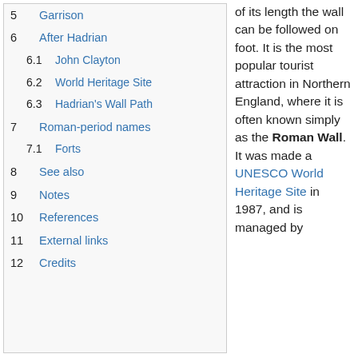5   Garrison
6   After Hadrian
6.1   John Clayton
6.2   World Heritage Site
6.3   Hadrian's Wall Path
7   Roman-period names
7.1   Forts
8   See also
9   Notes
10   References
11   External links
12   Credits
of its length the wall can be followed on foot. It is the most popular tourist attraction in Northern England, where it is often known simply as the Roman Wall. It was made a UNESCO World Heritage Site in 1987, and is managed by